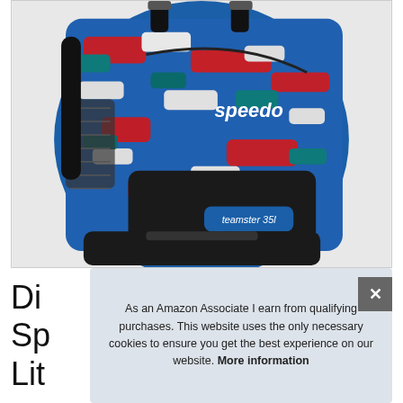[Figure (photo): A Speedo Teamster 35L backpack with a red, white, and blue digital camouflage pattern. The bag has black straps, mesh side pocket, and the text 'speedo' and 'teamster 35l' visible on the bag.]
Di
Sp
Lit
As an Amazon Associate I earn from qualifying purchases. This website uses the only necessary cookies to ensure you get the best experience on our website. More information